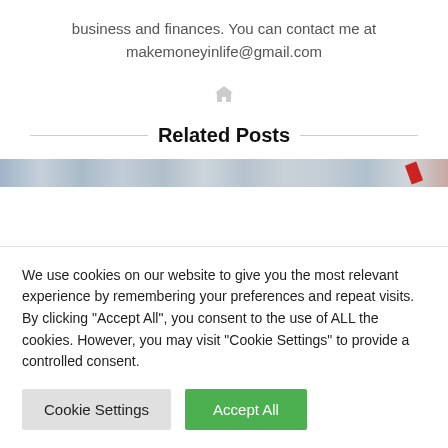business and finances. You can contact me at makemoneyinlife@gmail.com
[Figure (other): Small home/house icon in light gray]
Related Posts
[Figure (photo): Blurred/cropped image strip with muted blue-gray tones and a red diagonal element on the right]
We use cookies on our website to give you the most relevant experience by remembering your preferences and repeat visits. By clicking "Accept All", you consent to the use of ALL the cookies. However, you may visit "Cookie Settings" to provide a controlled consent.
Cookie Settings | Accept All